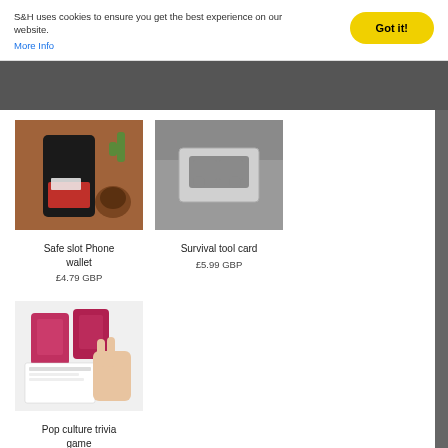S&H uses cookies to ensure you get the best experience on our website. More Info
Got it!
[Figure (photo): Safe slot Phone wallet product photo - black phone with red card slot on wooden table]
Safe slot Phone wallet
£4.79 GBP
[Figure (photo): Survival tool card product photo - silver multi-tool card shaped like a vehicle on a rock]
Survival tool card
£5.99 GBP
[Figure (photo): Pop culture trivia game product photo - red tins and cards on white background with hand]
Pop culture trivia game
£6.99 GBP
[Figure (photo): Bottom left product photo - cocktail making scene with cards on dark background]
[Figure (photo): Bottom middle product photo - hands holding keys and multi-tool on wooden surface]